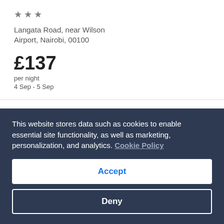[Figure (other): 3 grey star icons indicating hotel rating]
Langata Road, near Wilson Airport, Nairobi, 00100
£137
per night
4 Sep - 5 Sep
Show details ∨
Emara Ole-sereni
This website stores data such as cookies to enable essential site functionality, as well as marketing, personalization, and analytics. Cookie Policy
Accept
Deny